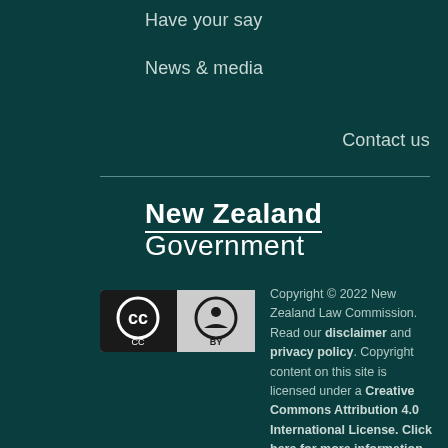Have your say
News & media
Contact us
[Figure (logo): New Zealand Government logo with underlined 'New Zealand' text]
[Figure (logo): Creative Commons Attribution (CC BY) badge — black and white circular icons]
Copyright © 2022 New Zealand Law Commission. Read our disclaimer and privacy policy. Copyright content on this site is licensed under a Creative Commons Attribution 4.0 International License. Click here for more information.